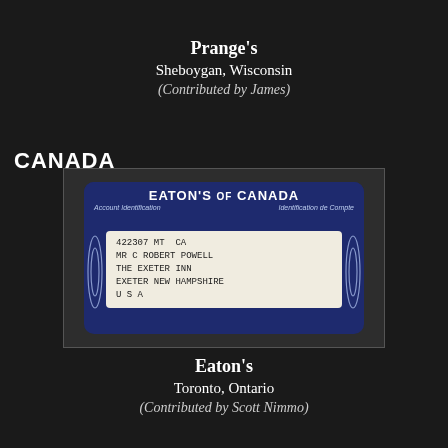Prange's
Sheboygan, Wisconsin
(Contributed by James)
CANADA
[Figure (photo): Eaton's of Canada account identification card. Dark blue/navy card with rounded corners showing: EATON'S OF CANADA, Account Identification / Identification de Compte, number 422307 MT CA, MR C ROBERT POWELL, THE EXETER INN, EXETER NEW HAMPSHIRE, U S A]
Eaton's
Toronto, Ontario
(Contributed by Scott Nimmo)